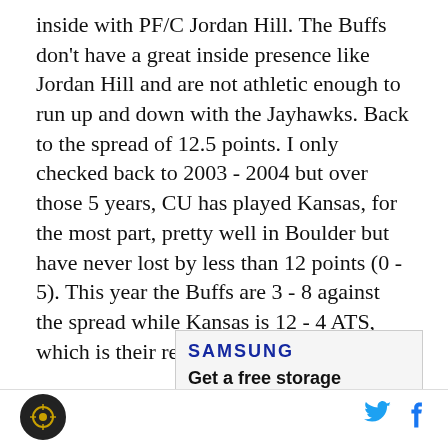inside with PF/C Jordan Hill. The Buffs don't have a great inside presence like Jordan Hill and are not athletic enough to run up and down with the Jayhawks. Back to the spread of 12.5 points. I only checked back to 2003 - 2004 but over those 5 years, CU has played Kansas, for the most part, pretty well in Boulder but have never lost by less than 12 points (0 - 5). This year the Buffs are 3 - 8 against the spread while Kansas is 12 - 4 ATS, which is their record.
[Figure (other): Samsung advertisement: SAMSUNG logo in blue, headline 'Get a free storage upgrade and case with S Pen', subtext 'with pre-order', partial image of a Samsung phone in the bottom right corner.]
Site logo (circular icon) on left; Twitter bird icon and Facebook 'f' icon on right